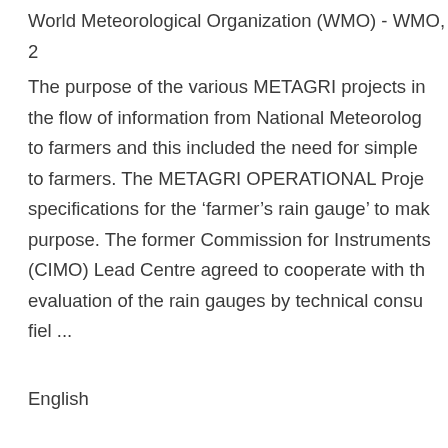World Meteorological Organization (WMO) - WMO, 2...
The purpose of the various METAGRI projects in... the flow of information from National Meteorolog... to farmers and this included the need for simple ... to farmers. The METAGRI OPERATIONAL Proje... specifications for the ‘farmer’s rain gauge’ to mak... purpose. The former Commission for Instruments... (CIMO) Lead Centre agreed to cooperate with th... evaluation of the rain gauges by technical consu... fiel ...
English